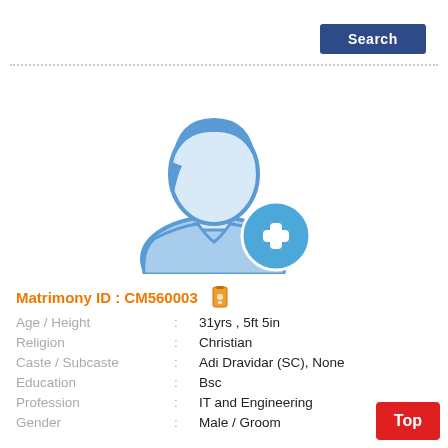[Figure (other): Search button - dark blue rounded rectangle with white bold text 'Search']
[Figure (illustration): Generic male avatar placeholder icon in light blue with a blue plus circle badge at bottom right, indicating no photo uploaded]
Matrimony ID : CM560003
| Age / Height | : | 31yrs , 5ft 5in |
| Religion | : | Christian |
| Caste / Subcaste | : | Adi Dravidar (SC), None |
| Education | : | Bsc |
| Profession | : | IT and Engineering |
| Gender | : | Male / Groom |